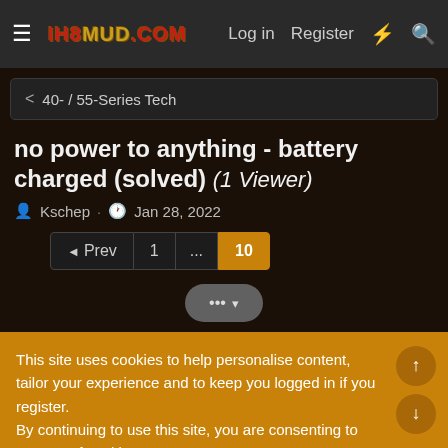ih8mud.com — Log in  Register
< 40- / 55-Series Tech
no power to anything - battery charged (solved) (1 Viewer)
Kschep · Jan 28, 2022
Prev  1  ...  10
... ▾
This site uses cookies to help personalise content, tailor your experience and to keep you logged in if you register.
By continuing to use this site, you are consenting to our use of cookies.
✓ Accept   Learn more...